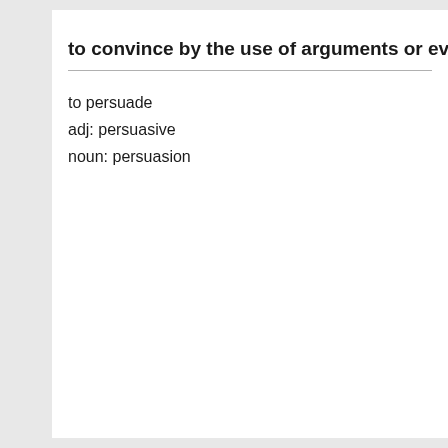to convince by the use of arguments or evidence
to persuade
adj: persuasive
noun: persuasion